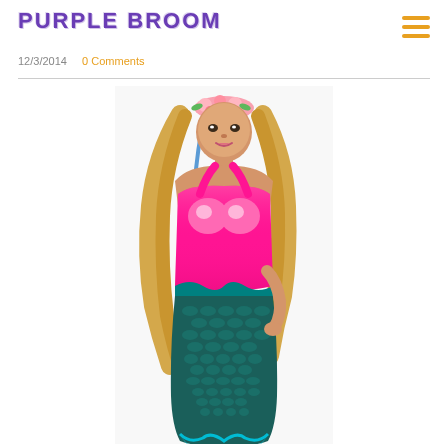Purple Broom
12/3/2014   0 Comments
[Figure (photo): Woman dressed in mermaid costume: pink metallic halter top with shell-shaped bust, dark teal/black scaly mermaid tail skirt, and teal ruffled fin at bottom. She has long blonde hair with pink and blue hair extensions, and wears a floral headpiece. White background.]